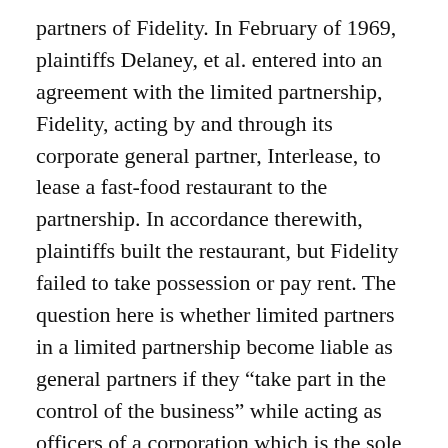partners of Fidelity. In February of 1969, plaintiffs Delaney, et al. entered into an agreement with the limited partnership, Fidelity, acting by and through its corporate general partner, Interlease, to lease a fast-food restaurant to the partnership. In accordance therewith, plaintiffs built the restaurant, but Fidelity failed to take possession or pay rent. The question here is whether limited partners in a limited partnership become liable as general partners if they “take part in the control of the business” while acting as officers of a corporation which is the sole general partner of the limited partnership (link).
The disagreement has led to the loss of 164 local television stations owned by Nexstar. Ive been with Direct TV for years.Was with them before AT&T purchased them, the service was much ,much better. AT&T are the worst company there is Everytime I